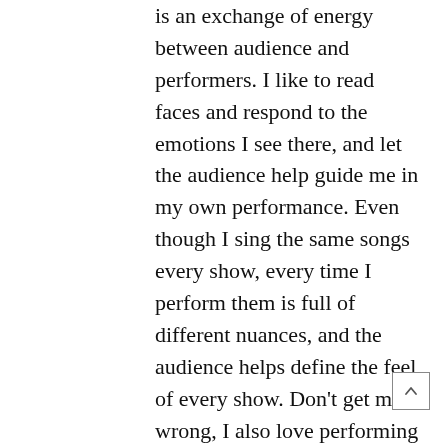is an exchange of energy between audience and performers. I like to read faces and respond to the emotions I see there, and let the audience help guide me in my own performance. Even though I sing the same songs every show, every time I perform them is full of different nuances, and the audience helps define the feel of every show. Don't get me wrong, I also love performing for thousands of people, what a rush! But the intimate aspect of performing at DiCicco's is just